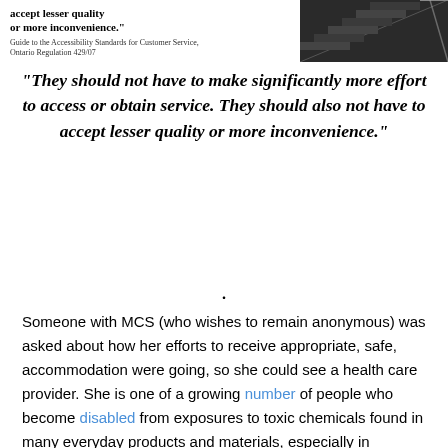[Figure (photo): Top portion shows a white panel with bold text reading 'accept lesser quality or more inconvenience.' with source citation 'Guide to the Accessibility Standards for Customer Service, Ontario Regulation 429/07', and on the right a dark staircase photo]
“They should not have to make significantly more effort to access or obtain service. They should also not have to accept lesser quality or more inconvenience.”
·
Someone with MCS (who wishes to remain anonymous) was asked about how her efforts to receive appropriate, safe, accommodation were going, so she could see a health care provider. She is one of a growing number of people who become disabled from exposures to toxic chemicals found in many everyday products and materials, especially in fragrances.